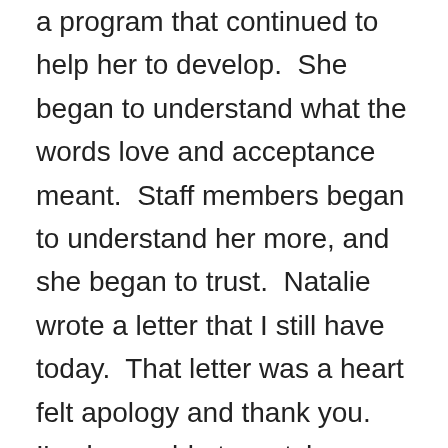a program that continued to help her to develop.  She began to understand what the words love and acceptance meant.  Staff members began to understand her more, and she began to trust.  Natalie wrote a letter that I still have today.  That letter was a heart felt apology and thank you.  I've been able to watch Natalie grow, and she is now a senior, graduating from our high school, and is planning to attend Grand Valley State University. Her future is bright, and I'm so proud of who she has become, and I'm excited to see her continued